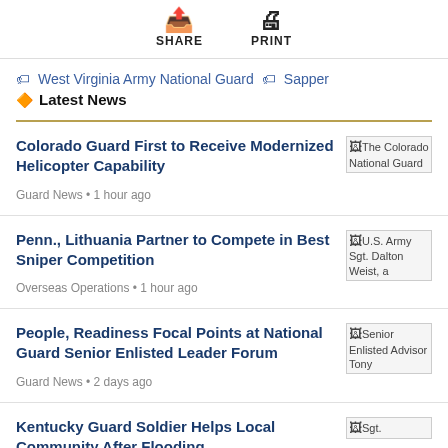SHARE  PRINT
West Virginia Army National Guard  Sapper
Latest News
Colorado Guard First to Receive Modernized Helicopter Capability
Guard News • 1 hour ago
Penn., Lithuania Partner to Compete in Best Sniper Competition
Overseas Operations • 1 hour ago
People, Readiness Focal Points at National Guard Senior Enlisted Leader Forum
Guard News • 2 days ago
Kentucky Guard Soldier Helps Local Community After Flooding